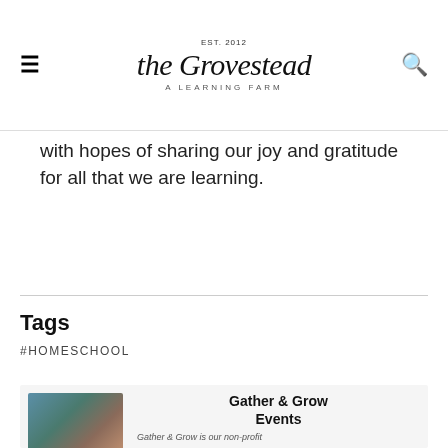EST. 2012 | the Grovestead | A LEARNING FARM
with hopes of sharing our joy and gratitude for all that we are learning.
Tags
#HOMESCHOOL
[Figure (photo): Two young girls smiling, one holding a white lamb or goat, outdoors]
Gather & Grow Events
Gather & Grow is our non-profit